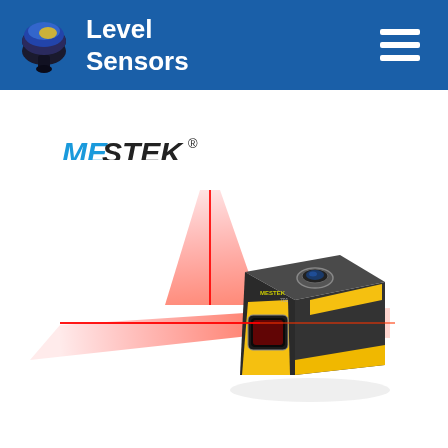Level Sensors
[Figure (logo): MESTEK brand logo with italic text: ME in blue, STEK in black, with registered trademark symbol]
[Figure (photo): MESTEK laser level device (yellow and dark gray/black body) emitting red cross laser beams on a white background. The device sits on a flat surface and projects a bright red horizontal and vertical laser cross pattern.]